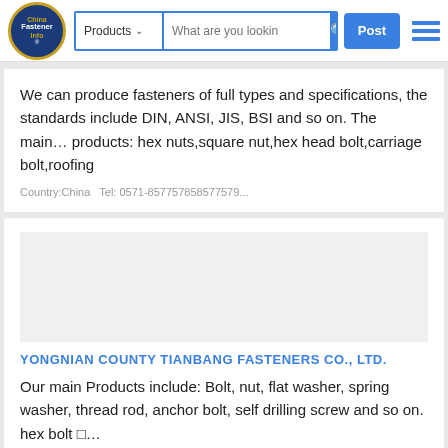China Fastener Info — Products search bar — Post — Menu
We can produce fasteners of full types and specifications, the standards include DIN, ANSI, JIS, BSI and so on. The main… products: hex nuts,square nut,hex head bolt,carriage bolt,roofing
Country:China   Tel: 0571-8577578585775579...
YONGNIAN COUNTY TIANBANG FASTENERS CO., Ltd.
Our main Products include: Bolt, nut, flat washer, spring washer, thread rod, anchor bolt, self drilling screw and so on. hex bolt  ...